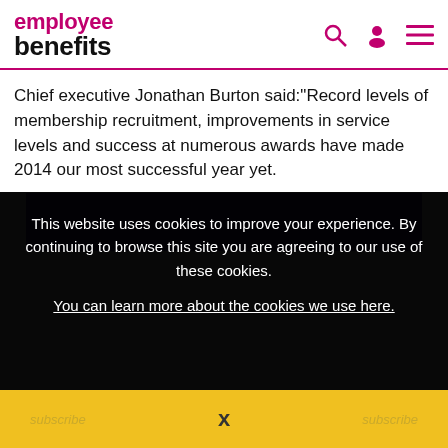employee benefits
Chief executive Jonathan Burton said:“Record levels of membership recruitment, improvements in service levels and success at numerous awards have made 2014 our most successful year yet.
[Figure (screenshot): Cookie consent overlay on a dark background with text: This website uses cookies to improve your experience. By continuing to browse this site you are agreeing to our use of these cookies. You can learn more about the cookies we use here.]
[Figure (other): Yellow bar at bottom with X close button]